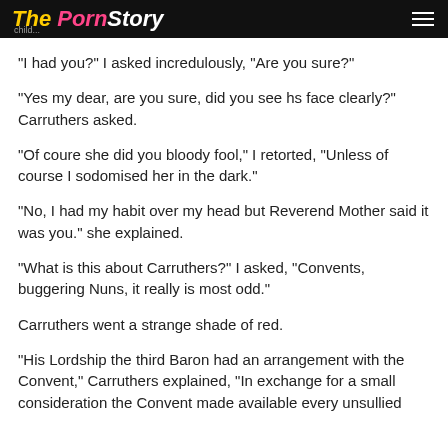The Porn Story
“I had you?” I asked incredulously, “Are you sure?”
“Yes my dear, are you sure, did you see hs face clearly?” Carruthers asked.
“Of coure she did you bloody fool,” I retorted, “Unless of course I sodomised her in the dark.”
“No, I had my habit over my head but Reverend Mother said it was you.” she explained.
“What is this about Carruthers?” I asked, “Convents, buggering Nuns, it really is most odd.”
Carruthers went a strange shade of red.
“His Lordship the third Baron had an arrangement with the Convent,” Carruthers explained, “In exchange for a small consideration the Convent made available every unsullied